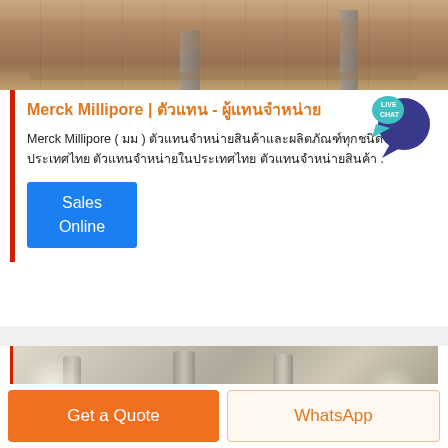[Figure (photo): Construction site aerial view showing sandy/earthy terrain with concrete pillars or structural elements]
Merck Millipore | ตัวแทน - ผู้แทนจำหน่าย
Merck Millipore ( มม ) ตัวแทนจำหน่ายสินค้าและผลิตภัณฑ์ทุกชนิดในประเทศไทย ตัวแทนจำหน่ายในประเทศไทย ตัวแทนจำหน่ายสินค้า .
Sales Online
[Figure (photo): Industrial facility interior showing large pipes, ducts, and industrial equipment in sepia/grayscale tones]
Get a Quote
WhatsApp